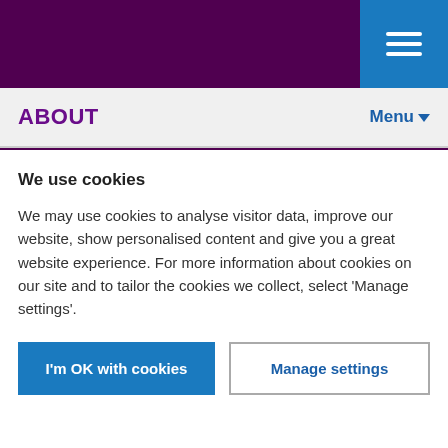ABOUT — Menu (navigation bar)
KEY DATES
NEWS, EVENTS, AND BLOGS
JOBS
We use cookies
We may use cookies to analyse visitor data, improve our website, show personalised content and give you a great website experience. For more information about cookies on our site and to tailor the cookies we collect, select 'Manage settings'.
I'm OK with cookies
Manage settings